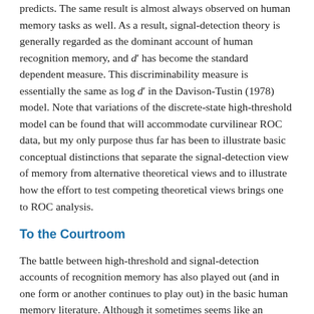predicts. The same result is almost always observed on human memory tasks as well. As a result, signal-detection theory is generally regarded as the dominant account of human recognition memory, and d′ has become the standard dependent measure. This discriminability measure is essentially the same as log d′ in the Davison-Tustin (1978) model. Note that variations of the discrete-state high-threshold model can be found that will accommodate curvilinear ROC data, but my only purpose thus far has been to illustrate basic conceptual distinctions that separate the signal-detection view of memory from alternative theoretical views and to illustrate how the effort to test competing theoretical views brings one to ROC analysis.
To the Courtroom
The battle between high-threshold and signal-detection accounts of recognition memory has also played out (and in one form or another continues to play out) in the basic human memory literature. Although it sometimes seems like an abstract debate of interest only to math modelers, an argument could be made that a detailed inquiry into the underlying theoretics of recognition